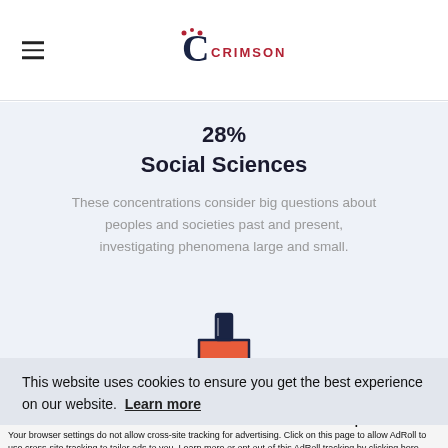CRIMSON
28%
Social Sciences
These concentrations consider big questions about peoples and societies past and present, investigating phenomena large and small.
[Figure (illustration): Flask/beaker icon in orange-red color representing science or chemistry]
This website uses cookies to ensure you get the best experience on our website.  Learn more
Accept and Close ×
Your browser settings do not allow cross-site tracking for advertising. Click on this page to allow AdRoll to use cross-site tracking to tailor ads to you. Learn more or opt out of this AdRoll tracking by clicking here. This message only appears once.